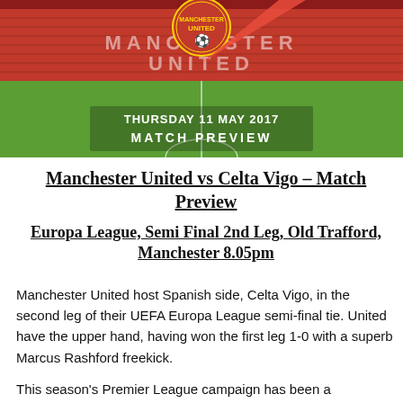[Figure (photo): Manchester United banner image showing Old Trafford stadium with the Manchester United crest, a red arrow/pennant graphic, text 'THURSDAY 11 MAY 2017' and 'MATCH PREVIEW' on a green pitch background.]
Manchester United vs Celta Vigo – Match Preview
Europa League, Semi Final 2nd Leg, Old Trafford, Manchester 8.05pm
Manchester United host Spanish side, Celta Vigo, in the second leg of their UEFA Europa League semi-final tie. United have the upper hand, having won the first leg 1-0 with a superb Marcus Rashford freekick.
This season's Premier League campaign has been a disappointing one for Manchester United and their fans, as